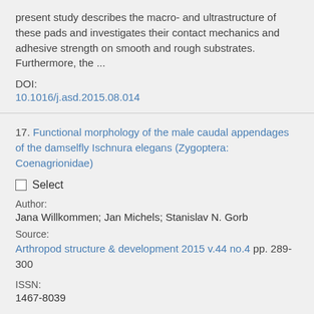present study describes the macro- and ultrastructure of these pads and investigates their contact mechanics and adhesive strength on smooth and rough substrates. Furthermore, the ...
DOI:
10.1016/j.asd.2015.08.014
17. Functional morphology of the male caudal appendages of the damselfly Ischnura elegans (Zygoptera: Coenagrionidae)
Select
Author:
Jana Willkommen; Jan Michels; Stanislav N. Gorb
Source:
Arthropod structure & development 2015 v.44 no.4 pp. 289-300
ISSN:
1467-8039